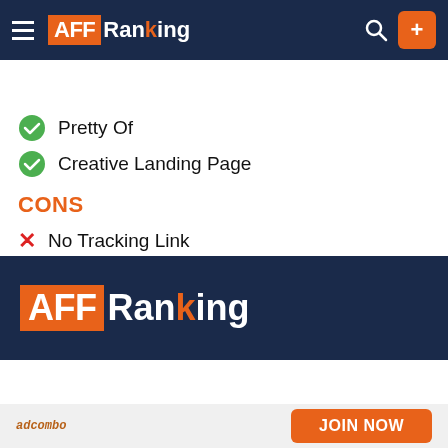[Figure (screenshot): AFFRanking website top navigation bar with hamburger menu, logo, search icon, and orange plus button on dark navy background]
ption   Network Details   Videos   Reviews (0)
Pretty Of
Creative Landing Page
CONS
No Tracking Link
[Figure (logo): AFFRanking logo in white text on dark navy background at bottom of page]
JOIN NOW